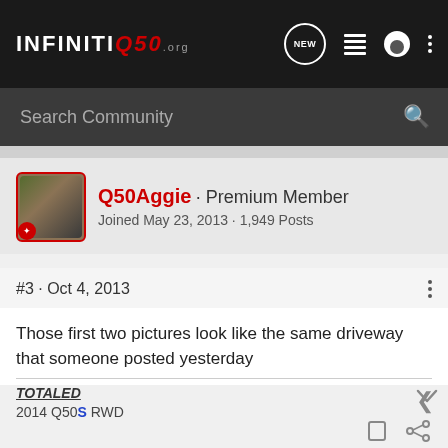INFINITI Q50 .org — navigation header with NEW, list, user, and menu icons
Search Community
Q50Aggie · Premium Member
Joined May 23, 2013 · 1,949 Posts
#3 · Oct 4, 2013
Those first two pictures look like the same driveway that someone posted yesterday
TOTALED
2014 Q50S RWD